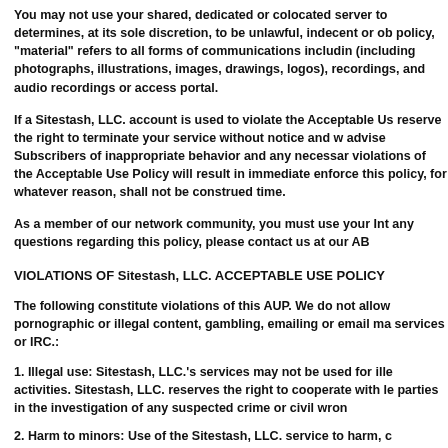You may not use your shared, dedicated or colocated server to determines, at its sole discretion, to be unlawful, indecent or ob policy, "material" refers to all forms of communications includin (including photographs, illustrations, images, drawings, logos), recordings, and audio recordings or access portal.
If a Sitestash, LLC. account is used to violate the Acceptable Us reserve the right to terminate your service without notice and w advise Subscribers of inappropriate behavior and any necessar violations of the Acceptable Use Policy will result in immediate enforce this policy, for whatever reason, shall not be construed time.
As a member of our network community, you must use your Int any questions regarding this policy, please contact us at our AB
VIOLATIONS OF Sitestash, LLC. ACCEPTABLE USE POLICY
The following constitute violations of this AUP. We do not allow pornographic or illegal content, gambling, emailing or email ma services or IRC.:
1. Illegal use: Sitestash, LLC.'s services may not be used for ille activities. Sitestash, LLC. reserves the right to cooperate with le parties in the investigation of any suspected crime or civil wron
2. Harm to minors: Use of the Sitestash, LLC. service to harm, c including, but not limited to child pornography.
3. Threats: Use of the Sitestash, LLC. service to transmit any m otherwise) that threatens or encourages bodily harm or destru